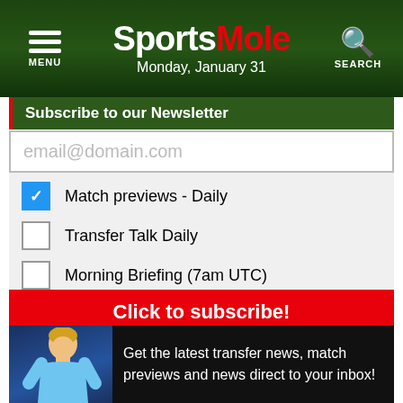Sports Mole — Monday, January 31
Subscribe to our Newsletter
email@domain.com
Match previews - Daily
Transfer Talk Daily
Morning Briefing (7am UTC)
Click to subscribe!
Get the latest transfer news, match previews and news direct to your inbox!
TRENDING TOPICS
LIVE! Deadline day
Preview: Lebanon vs. Iraq
Preview: Vietnam vs. China